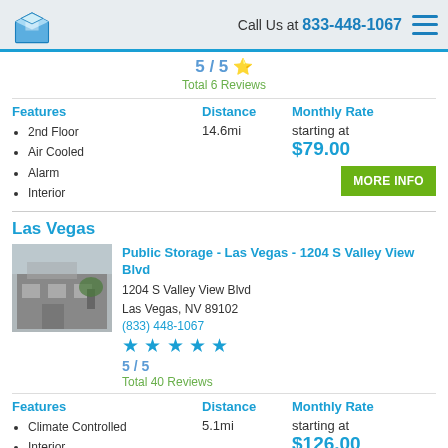Call Us at 833-448-1067
5 / 5 — Total 6 Reviews
Features: 2nd Floor, Air Cooled, Alarm, Interior | Distance: 14.6mi | Monthly Rate: starting at $79.00
Las Vegas
Public Storage - Las Vegas - 1204 S Valley View Blvd
1204 S Valley View Blvd
Las Vegas, NV 89102
(833) 448-1067
5 / 5 — Total 40 Reviews
Features: Climate Controlled, Interior | Distance: 5.1mi | Monthly Rate: starting at $126.00